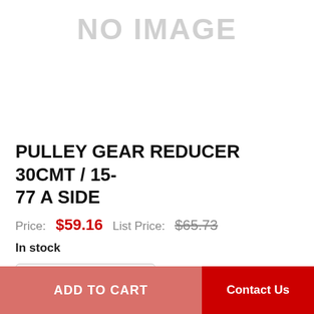[Figure (other): No image placeholder with large gray text 'NO IMAGE']
PULLEY GEAR REDUCER 30CMT / 15-77 A SIDE
Price: $59.16  List Price: $65.73
In stock
- 1 +
ADD TO CART  Contact Us